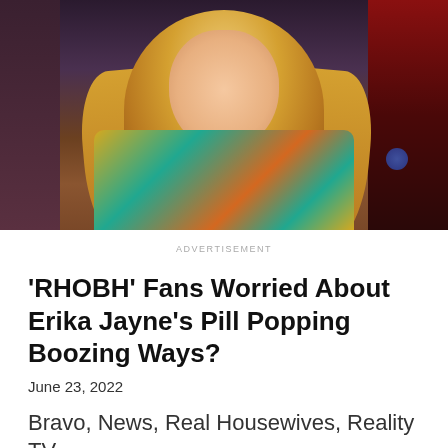[Figure (photo): A blonde woman wearing a colorful patterned shirt and necklace, seated in front of a bookshelf background, appearing to be on a TV set.]
ADVERTISEMENT
'RHOBH' Fans Worried About Erika Jayne's Pill Popping Boozing Ways?
June 23, 2022
Bravo, News, Real Housewives, Reality TV